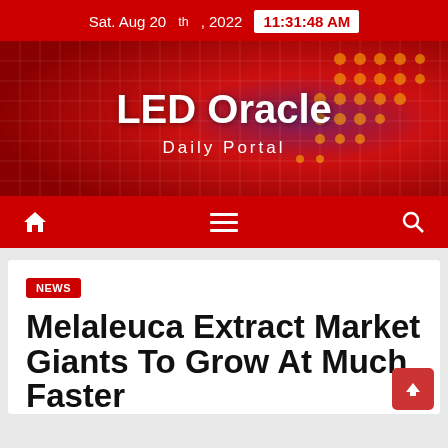Sat. Aug 20th, 2022  11:31:48 AM
[Figure (illustration): LED Oracle website banner with red and purple grid background, showing site title and tagline]
LED Oracle
Daily Portal
Navigation bar with home icon, hamburger menu, and search icon
NEWS
Melaleuca Extract Market Giants To Grow At Much Faster